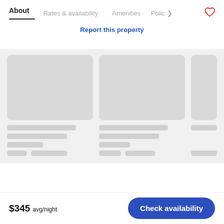About | Rates & availability | Amenities | Polic >
Report this property
[Figure (screenshot): Loading skeleton UI with gray image placeholders and skeleton text rows for property listings]
$345 avg/night
Check availability